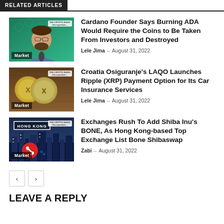RELATED ARTICLES
[Figure (photo): Thumbnail of man with beard in front of green background, with Market label]
Cardano Founder Says Burning ADA Would Require the Coins to Be Taken From Investors and Destroyed
Lele Jima – August 31, 2022
[Figure (photo): Thumbnail of XRP/Ripple coins on wooden surface, with Market label]
Croatia Osiguranje's LAQO Launches Ripple (XRP) Payment Option for Its Car Insurance Services
Lele Jima – August 31, 2022
[Figure (photo): Thumbnail of Hong Kong city with HONG KONG text box and Shiba Inu bone logo, with Market label]
Exchanges Rush To Add Shiba Inu's BONE, As Hong Kong-based Top Exchange List Bone Shibaswap
Zabi – August 31, 2022
< >
LEAVE A REPLY